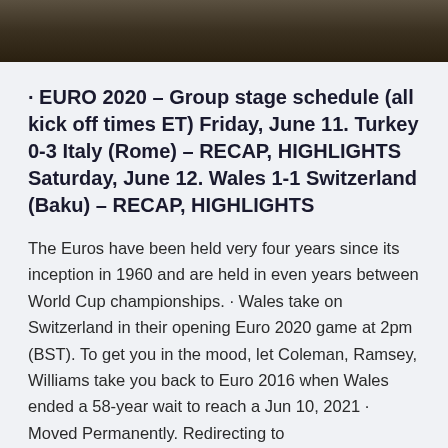[Figure (photo): A dark rocky or natural texture image cropped at the top of the page]
· EURO 2020 – Group stage schedule (all kick off times ET) Friday, June 11. Turkey 0-3 Italy (Rome) – RECAP, HIGHLIGHTS Saturday, June 12. Wales 1-1 Switzerland (Baku) – RECAP, HIGHLIGHTS
The Euros have been held very four years since its inception in 1960 and are held in even years between World Cup championships. · Wales take on Switzerland in their opening Euro 2020 game at 2pm (BST). To get you in the mood, let Coleman, Ramsey, Williams take you back to Euro 2016 when Wales ended a 58-year wait to reach a Jun 10, 2021 · Moved Permanently. Redirecting to /sport/football/euro-2021-news-live-